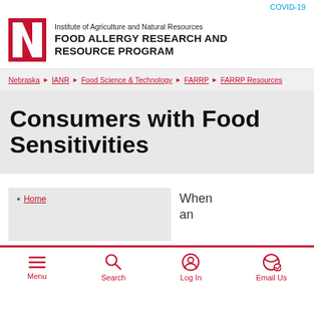COVID-19
[Figure (logo): University of Nebraska red N logo with Institute of Agriculture and Natural Resources Food Allergy Research and Resource Program header]
Nebraska › IANR › Food Science & Technology › FARRP › FARRP Resources
Consumers with Food Sensitivities
Home
When an
Menu  Search  Log In  Email Us